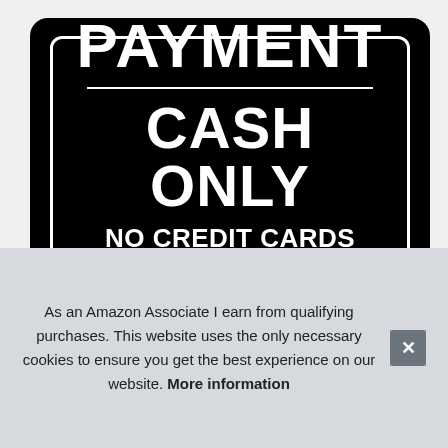[Figure (illustration): A black rectangular sign with rounded corners, white inner border, displaying 'PAYMENT' in large bold white text, a horizontal divider line, then 'CASH ONLY' in large bold white text, 'NO CREDIT CARDS ACCEPTED' in medium bold white text, and 'THANK YOU' in large bold white text.]
Pa
ac
As an Amazon Associate I earn from qualifying purchases. This website uses the only necessary cookies to ensure you get the best experience on our website. More information